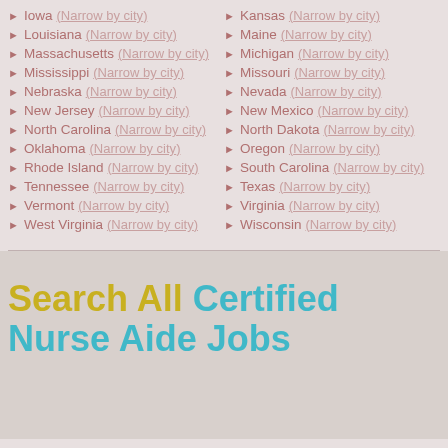Iowa (Narrow by city)
Kansas (Narrow by city)
Louisiana (Narrow by city)
Maine (Narrow by city)
Massachusetts (Narrow by city)
Michigan (Narrow by city)
Mississippi (Narrow by city)
Missouri (Narrow by city)
Nebraska (Narrow by city)
Nevada (Narrow by city)
New Jersey (Narrow by city)
New Mexico (Narrow by city)
North Carolina (Narrow by city)
North Dakota (Narrow by city)
Oklahoma (Narrow by city)
Oregon (Narrow by city)
Rhode Island (Narrow by city)
South Carolina (Narrow by city)
Tennessee (Narrow by city)
Texas (Narrow by city)
Vermont (Narrow by city)
Virginia (Narrow by city)
West Virginia (Narrow by city)
Wisconsin (Narrow by city)
Search All Certified Nurse Aide Jobs